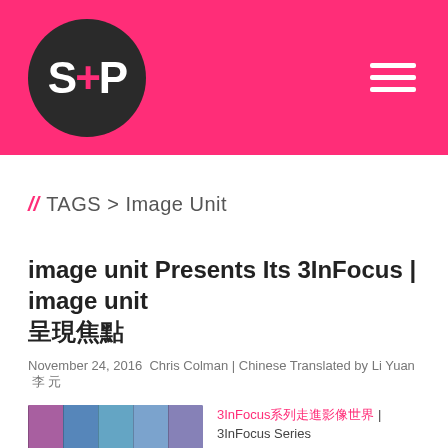[Figure (logo): Website header with hot pink background, circular dark logo with 'S+P' text, and hamburger menu icon on the right]
// TAGS > Image Unit
image unit Presents Its 3InFocus | image unit 呈現焦點
November 24, 2016 Chris Colman | Chinese Translated by Li Yuan 李 元
[Figure (photo): Thumbnail image showing abstract photo strips with purple, blue, and teal tones]
3InFocus系列走進影像世界 | 3InFocus Series ...